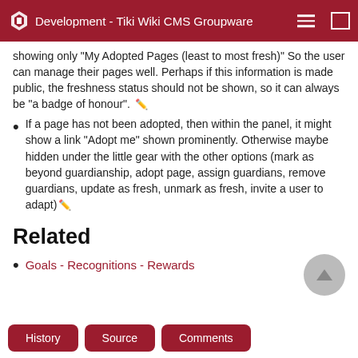Development - Tiki Wiki CMS Groupware
showing only "My Adopted Pages (least to most fresh)" So the user can manage their pages well. Perhaps if this information is made public, the freshness status should not be shown, so it can always be "a badge of honour".
If a page has not been adopted, then within the panel, it might show a link "Adopt me" shown prominently. Otherwise maybe hidden under the little gear with the other options (mark as beyond guardianship, adopt page, assign guardians, remove guardians, update as fresh, unmark as fresh, invite a user to adapt)
Related
Goals - Recognitions - Rewards
History  Source  Comments